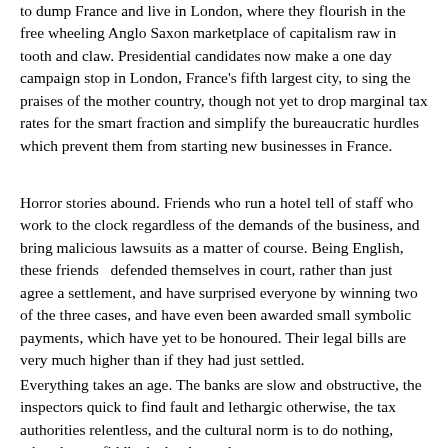to dump France and live in London, where they flourish in the free wheeling Anglo Saxon marketplace of capitalism raw in tooth and claw. Presidential candidates now make a one day campaign stop in London, France's fifth largest city, to sing the praises of the mother country, though not yet to drop marginal tax rates for the smart fraction and simplify the bureaucratic hurdles which prevent them from starting new businesses in France.
Horror stories abound. Friends who run a hotel tell of staff who work to the clock regardless of the demands of the business, and bring malicious lawsuits as a matter of course. Being English, these friends  defended themselves in court, rather than just agree a settlement, and have surprised everyone by winning two of the three cases, and have even been awarded small symbolic payments, which have yet to be honoured. Their legal bills are very much higher than if they had just settled.
Everything takes an age. The banks are slow and obstructive, the inspectors quick to find fault and lethargic otherwise, the tax authorities relentless, and the cultural norm is to do nothing, other than to fiddle the books so that